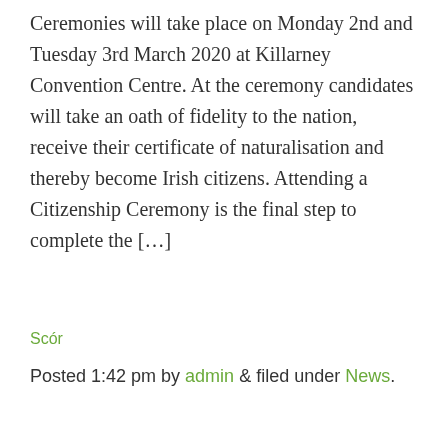Ceremonies will take place on Monday 2nd and Tuesday 3rd March 2020 at Killarney Convention Centre. At the ceremony candidates will take an oath of fidelity to the nation, receive their certificate of naturalisation and thereby become Irish citizens. Attending a Citizenship Ceremony is the final step to complete the […]
Scór
Posted 1:42 pm by admin & filed under News.